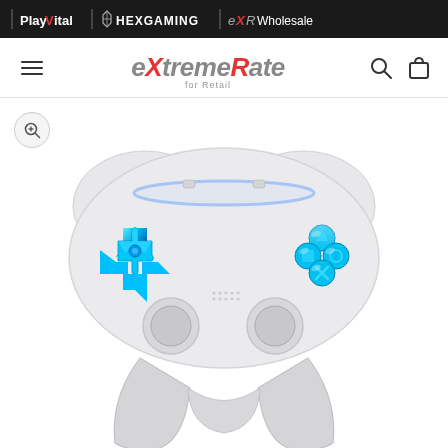[Figure (logo): Brand bar with PlayVital, HexGaming, and eXR Wholesale logos on black background]
[Figure (logo): eXtremeRate for Retail navigation bar with hamburger menu icon, search icon, and shopping bag icon]
[Figure (photo): PS5 DualSense controller with chrome blue replacement buttons - D-pad on left and action buttons on right, controller body is white/light grey, shown from front-top angle]